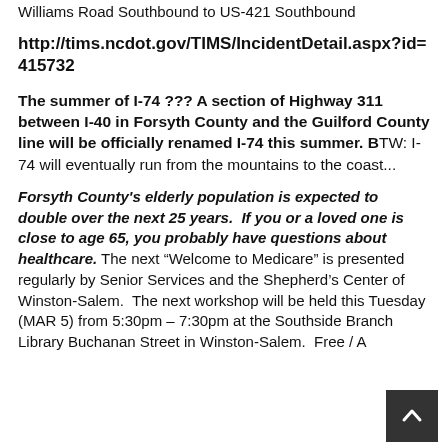Williams Road Southbound to US-421 Southbound
http://tims.ncdot.gov/TIMS/IncidentDetail.aspx?id=415732
The summer of I-74 ??? A section of Highway 311 between I-40 in Forsyth County and the Guilford County line will be officially renamed I-74 this summer. BTW: I-74 will eventually run from the mountains to the coast...
Forsyth County's elderly population is expected to double over the next 25 years. If you or a loved one is close to age 65, you probably have questions about healthcare. The next “Welcome to Medicare” is presented regularly by Senior Services and the Shepherd’s Center of Winston-Salem. The next workshop will be held this Tuesday (MAR 5) from 5:30pm – 7:30pm at the Southside Branch Library Buchanan Street in Winston-Salem. Free / A